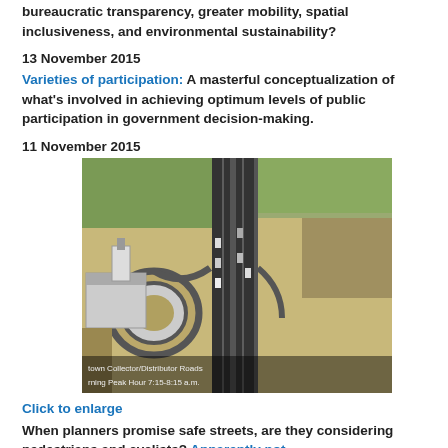bureaucratic transparency, greater mobility, spatial inclusiveness, and environmental sustainability?
13 November 2015
Varieties of participation: A masterful conceptualization of what's involved in achieving optimum levels of public participation in government decision-making.
11 November 2015
[Figure (photo): Aerial 3D view of a highway interchange with collector/distributor roads, showing traffic during morning peak hour 7:15-8:15 a.m., with buildings and circular ramp visible on the left side.]
Click to enlarge
When planners promise safe streets, are they considering pedestrians and cyclists? Apparently not.